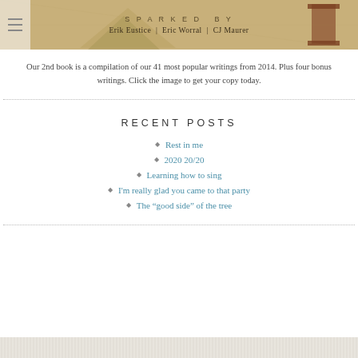[Figure (illustration): Book cover banner with tan/brown textured background, decorative pyramid and column imagery. Text reads 'SPARKED BY' and 'Erik Eustice | Eric Worral | CJ Maurer']
Our 2nd book is a compilation of our 41 most popular writings from 2014. Plus four bonus writings. Click the image to get your copy today.
RECENT POSTS
Rest in me
2020 20/20
Learning how to sing
I'm really glad you came to that party
The “good side” of the tree